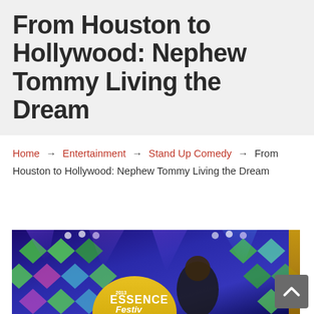From Houston to Hollywood: Nephew Tommy Living the Dream
Home → Entertainment → Stand Up Comedy → From Houston to Hollywood: Nephew Tommy Living the Dream
[Figure (photo): Photo of a performer on stage at the 2013 Essence Festival, with colorful diamond-patterned backdrop and stage lighting]